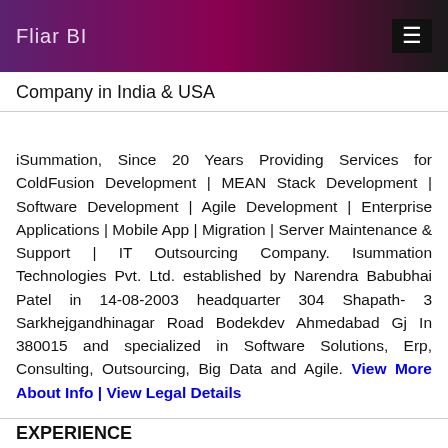Fliar BI
Company in India & USA
iSummation, Since 20 Years Providing Services for ColdFusion Development | MEAN Stack Development | Software Development | Agile Development | Enterprise Applications | Mobile App | Migration | Server Maintenance & Support | IT Outsourcing Company. Isummation Technologies Pvt. Ltd. established by Narendra Babubhai Patel in 14-08-2003 headquarter 304 Shapath- 3 Sarkhejgandhinagar Road Bodekdev Ahmedabad Gj In 380015 and specialized in Software Solutions, Erp, Consulting, Outsourcing, Big Data and Agile. View More About Info | View Legal Details
EXPERIENCE